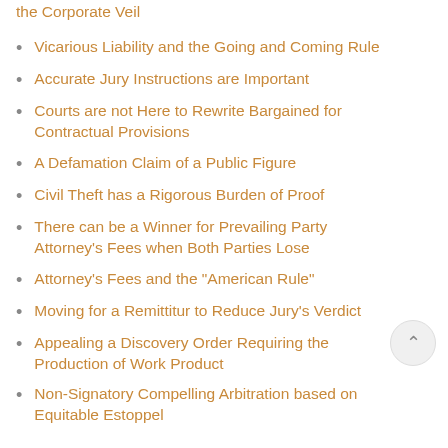the Corporate Veil
Vicarious Liability and the Going and Coming Rule
Accurate Jury Instructions are Important
Courts are not Here to Rewrite Bargained for Contractual Provisions
A Defamation Claim of a Public Figure
Civil Theft has a Rigorous Burden of Proof
There can be a Winner for Prevailing Party Attorney's Fees when Both Parties Lose
Attorney's Fees and the "American Rule"
Moving for a Remittitur to Reduce Jury's Verdict
Appealing a Discovery Order Requiring the Production of Work Product
Non-Signatory Compelling Arbitration based on Equitable Estoppel